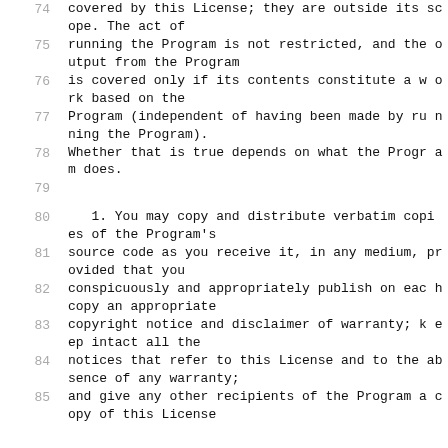74    covered by this License; they are outside its scope.  The act of
75    running the Program is not restricted, and the output from the Program
76    is covered only if its contents constitute a work based on the
77    Program (independent of having been made by running the Program).
78    Whether that is true depends on what the Program does.
79
80      1. You may copy and distribute verbatim copies of the Program's
81    source code as you receive it, in any medium, provided that you
82    conspicuously and appropriately publish on each copy an appropriate
83    copyright notice and disclaimer of warranty; keep intact all the
84    notices that refer to this License and to the absence of any warranty;
85    and give any other recipients of the Program a copy of this License